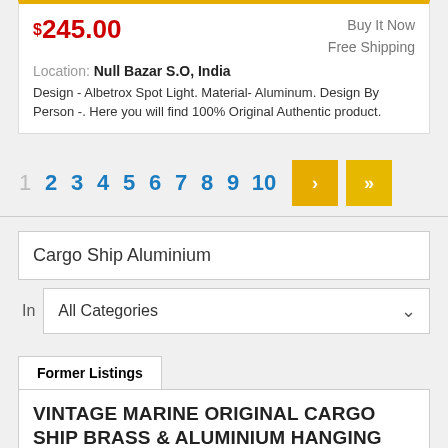$245.00 | Buy It Now | Free Shipping
Location: Null Bazar S.O, India
Design - Albetrox Spot Light. Material- Aluminum. Design By Person -. Here you will find 100% Original Authentic product.
1 2 3 4 5 6 7 8 9 10 > >>
Cargo Ship Aluminium
In All Categories
Former Listings
VINTAGE MARINE ORIGINAL CARGO SHIP BRASS & ALUMINIUM HANGING LIGHT 1 PCS